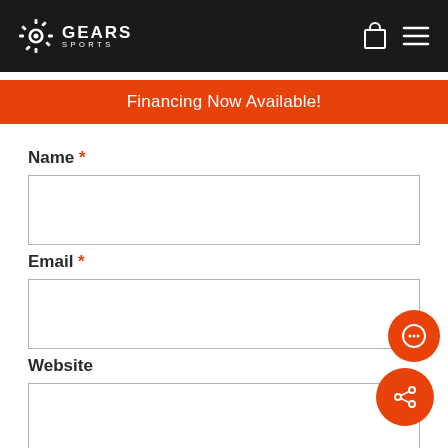GEARS SPORTS
Financing Now Available!
Name *
Email *
Website